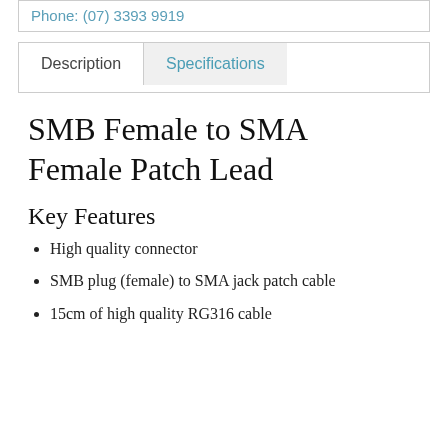Phone: (07) 3393 9919
Description | Specifications
SMB Female to SMA Female Patch Lead
Key Features
High quality connector
SMB plug (female) to SMA jack patch cable
15cm of high quality RG316 cable